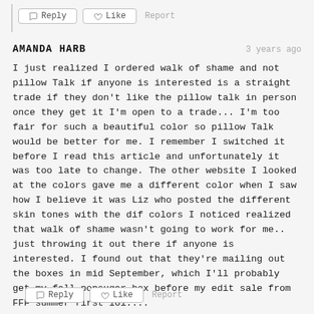[Figure (screenshot): Reply and Like buttons with Report link at the top of the page]
AMANDA HARB
3 years ago
I just realized I ordered walk of shame and not pillow Talk if anyone is interested is a straight trade if they don't like the pillow talk in person once they get it I'm open to a trade... I'm too fair for such a beautiful color so pillow Talk would be better for me. I remember I switched it before I read this article and unfortunately it was too late to change. The other website I looked at the colors gave me a different color when I saw how I believe it was Liz who posted the different skin tones with the dif colors I noticed realized that walk of shame wasn't going to work for me.. just throwing it out there if anyone is interested. I found out that they're mailing out the boxes in mid September, which I'll probably get my fall popsugar box before my edit sale from FFF summer first lol....
[Figure (screenshot): Reply and Like buttons with Report link at the bottom of the page]